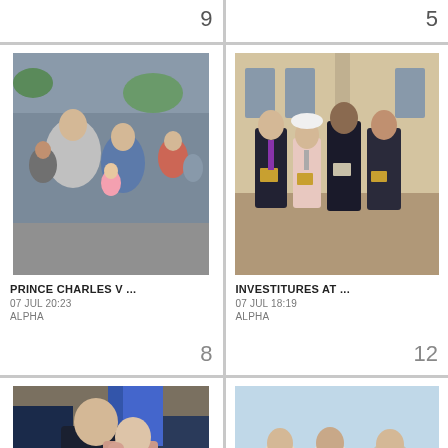9
5
[Figure (photo): Prince Charles speaking to a woman holding a baby in a pink outfit, outdoors with crowd in background]
PRINCE CHARLES V ...
07 JUL 20:23
ALPHA
8
[Figure (photo): Four people standing outside Buckingham Palace holding investiture medals and certificates]
INVESTITURES AT ...
07 JUL 18:19
ALPHA
12
[Figure (photo): Man kissing a woman on the cheek at an event, with people in background]
[Figure (photo): Group of women outdoors, one holding a bouquet]